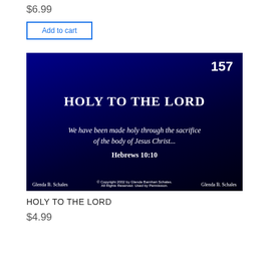$6.99
Add to cart
[Figure (illustration): A dark blue gradient slide (number 157) titled 'HOLY TO THE LORD' with an italic Bible verse 'We have been made holy through the sacrifice of the body of Jesus Christ...' and reference 'Hebrews 10:10'. Footer shows 'Glenda B. Schales' on both sides and a copyright notice in the center.]
HOLY TO THE LORD
$4.99